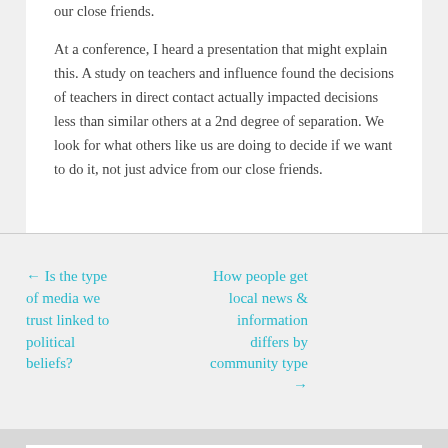our close friends.
At a conference, I heard a presentation that might explain this. A study on teachers and influence found the decisions of teachers in direct contact actually impacted decisions less than similar others at a 2nd degree of separation. We look for what others like us are doing to decide if we want to do it, not just advice from our close friends.
← Is the type of media we trust linked to political beliefs?
How people get local news & information differs by community type →
[Figure (photo): Partial view of a person's photo, showing top of head with brown hair against a green outdoor background, inside a white card on a gray section at the bottom of the page.]